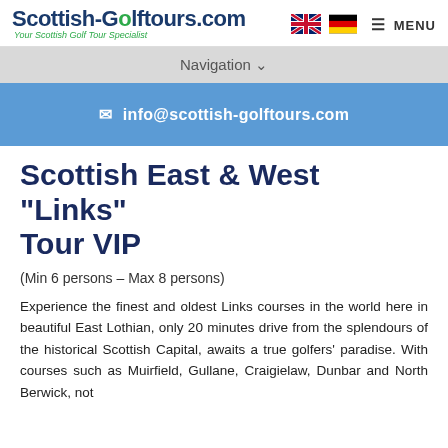Scottish-GolfTours.com — Your Scottish Golf Tour Specialist
Navigation
info@scottish-golftours.com
Scottish East & West "Links" Tour VIP
(Min 6 persons – Max 8 persons)
Experience the finest and oldest Links courses in the world here in beautiful East Lothian, only 20 minutes drive from the splendours of the historical Scottish Capital, awaits a true golfers' paradise. With courses such as Muirfield, Gullane, Craigielaw, Dunbar and North Berwick, not forgetting...